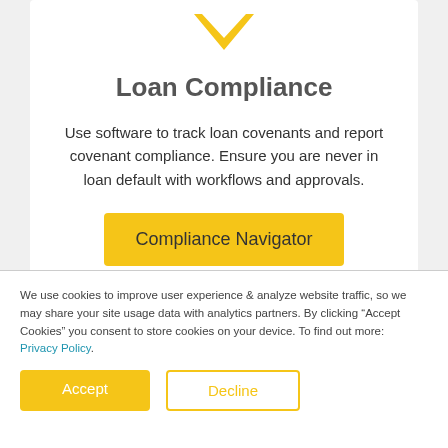[Figure (illustration): Yellow downward chevron/arrow icon]
Loan Compliance
Use software to track loan covenants and report covenant compliance. Ensure you are never in loan default with workflows and approvals.
Compliance Navigator
We use cookies to improve user experience & analyze website traffic, so we may share your site usage data with analytics partners. By clicking “Accept Cookies” you consent to store cookies on your device. To find out more: Privacy Policy.
Accept
Decline